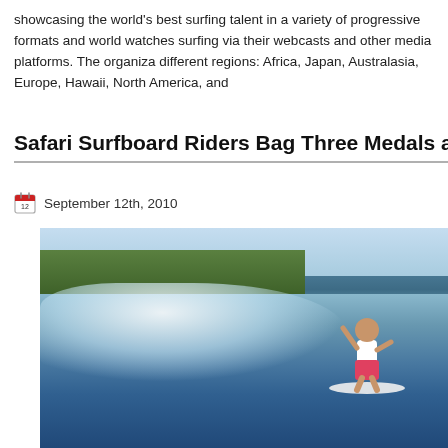showcasing the world's best surfing talent in a variety of progressive formats and world watches surfing via their webcasts and other media platforms. The organiza different regions: Africa, Japan, Australasia, Europe, Hawaii, North America, and
Safari Surfboard Riders Bag Three Medals at ISA World Masters Cha
September 12th, 2010
[Figure (photo): A surfer riding a large ocean wave. The wave is crashing with white spray visible. In the background there is dense green tropical foliage on a hillside. The surfer is wearing a white top and pink/red shorts, crouching on the surfboard.]